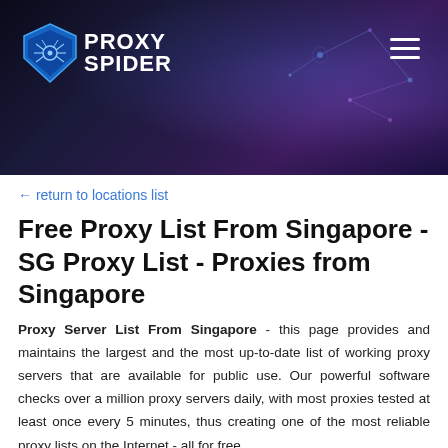[Figure (logo): Proxy Spider logo with blue shield icon and white text 'PROXY SPIDER' on dark tech background with network node graphics]
← return to locations list
Free Proxy List From Singapore - SG Proxy List - Proxies from Singapore
Proxy Server List From Singapore - this page provides and maintains the largest and the most up-to-date list of working proxy servers that are available for public use. Our powerful software checks over a million proxy servers daily, with most proxies tested at least once every 5 minutes, thus creating one of the most reliable proxy lists on the Internet - all for free.
Any proxy server listed on this page can be used with a software application that supports the use of proxies such as your web browser. The most popular uses of proxies include hiding your real IP